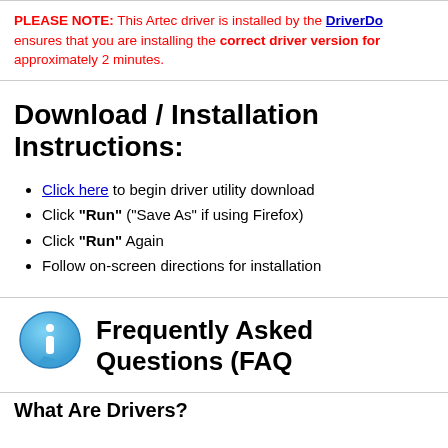PLEASE NOTE: This Artec driver is installed by the DriverDoc ensures that you are installing the correct driver version for approximately 2 minutes.
Download / Installation Instructions:
Click here to begin driver utility download
Click "Run" ("Save As" if using Firefox)
Click "Run" Again
Follow on-screen directions for installation
Frequently Asked Questions (FAQ)
What Are Drivers?